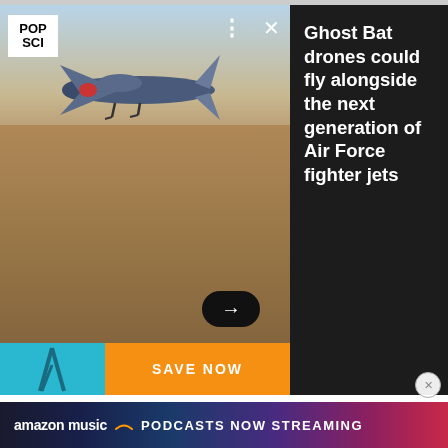[Figure (screenshot): Pop Science article card showing Ghost Bat drone flying over desert terrain with article title panel]
Ghost Bat drones could fly alongside the next generation of Air Force fighter jets
[Figure (photo): Advertisement showing tripod with cyan and orange Save Now banner]
Will US car buyers adopt a car the size of a laundromat dryer, that costs as much as a sofa? Ratan Tata, chairman of India's Tata Motors, hopes they will. Automotive News reports that Tata is floating plans to bring a version of the $2,500 Nano minicar to the US within three years.
[Figure (screenshot): Amazon Music advertisement banner: PODCASTS NOW STREAMING]